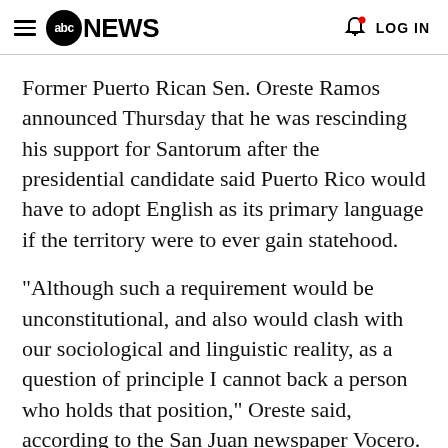abc NEWS  LOG IN
Former Puerto Rican Sen. Oreste Ramos announced Thursday that he was rescinding his support for Santorum after the presidential candidate said Puerto Rico would have to adopt English as its primary language if the territory were to ever gain statehood.
"Although such a requirement would be unconstitutional, and also would clash with our sociological and linguistic reality, as a question of principle I cannot back a person who holds that position," Oreste said, according to the San Juan newspaper Vocero. "As a Puerto Rican and Spanish-speaking U.S.